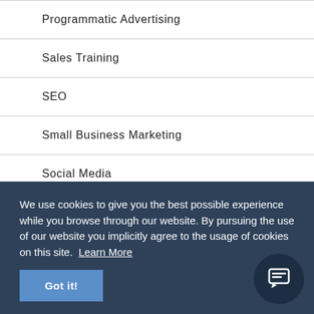Programmatic Advertising
Sales Training
SEO
Small Business Marketing
Social Media
TV Advertising
Uncategorized
We use cookies to give you the best possible experience while you browse through our website. By pursuing the use of our website you implicitly agree to the usage of cookies on this site. Learn More
Got it!